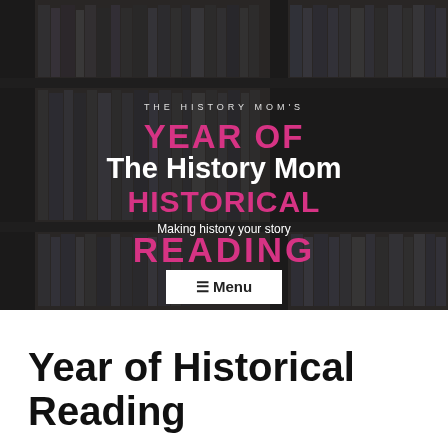[Figure (photo): Hero banner image of a website called 'The History Mom' showing a bookshelf background with dark overlay. Contains decorative pink text 'YEAR OF HISTORICAL READING', white site title 'The History Mom', tagline 'Making history your story', small uppercase text 'THE HISTORY MOM'S', and a white Menu button.]
Year of Historical Reading